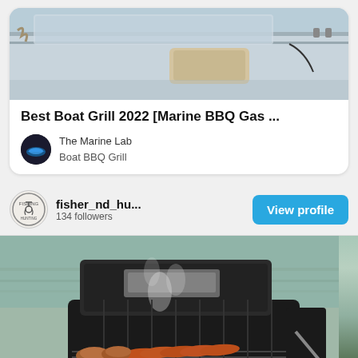[Figure (photo): Photo of a boat deck from above, showing seating and equipment]
Best Boat Grill 2022 [Marine BBQ Gas ...
The Marine Lab
Boat BBQ Grill
fisher_nd_hu...
134 followers
View profile
[Figure (photo): Photo of a marine BBQ grill with hotdogs and burgers cooking on it, near water]